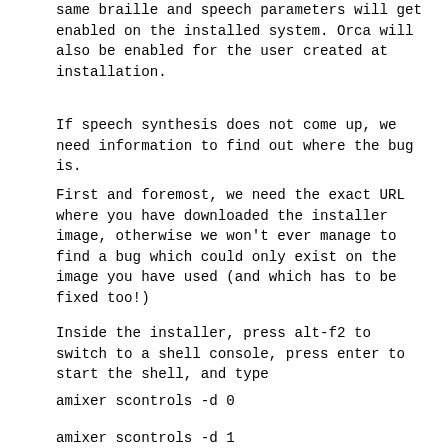same braille and speech parameters will get enabled on the installed system. Orca will also be enabled for the user created at installation.
If speech synthesis does not come up, we need information to find out where the bug is.
First and foremost, we need the exact URL where you have downloaded the installer image, otherwise we won't ever manage to find a bug which could only exist on the image you have used (and which has to be fixed too!)
Inside the installer, press alt-f2 to switch to a shell console, press enter to start the shell, and type
amixer scontrols -d 0
amixer scontrols -d 1